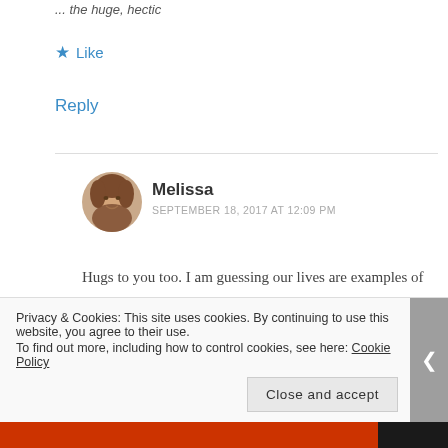... the huge, hectic
★ Like
Reply
Melissa
SEPTEMBER 18, 2017 AT 12:09 PM
Hugs to you too. I am guessing our lives are examples of how strong women are made. Hang in there.
Privacy & Cookies: This site uses cookies. By continuing to use this website, you agree to their use.
To find out more, including how to control cookies, see here: Cookie Policy
Close and accept